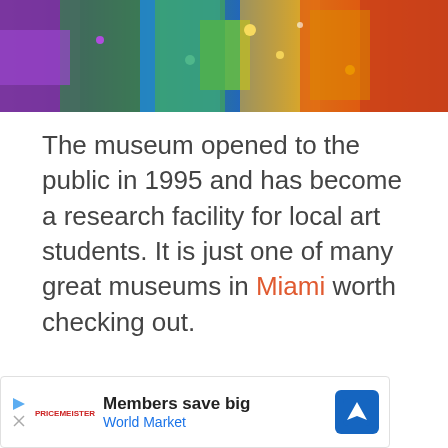[Figure (photo): Colorful illuminated artwork photo showing decorative textile or mosaic with purple, green, blue, orange and gold colors]
The museum opened to the public in 1995 and has become a research facility for local art students. It is just one of many great museums in Miami worth checking out.
[Figure (screenshot): UI widget showing heart/like button (teal circle), count of 3, and share button]
[Figure (screenshot): What's Next panel showing thumbnail image with text: WHAT'S NEXT → Visiting the Georgia...]
[Figure (screenshot): Advertisement banner: Members save big / World Market with blue navigation icon]